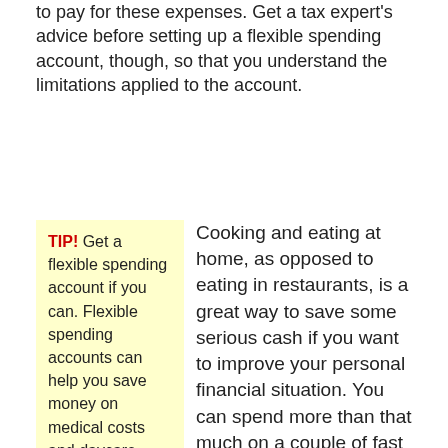to pay for these expenses. Get a tax expert's advice before setting up a flexible spending account, though, so that you understand the limitations applied to the account.
TIP! Get a flexible spending account if you can. Flexible spending accounts can help you save money on medical costs and daycare bills.
Cooking and eating at home, as opposed to eating in restaurants, is a great way to save some serious cash if you want to improve your personal financial situation. You can spend more than that much on a couple of fast food burgers and some soda.
If you have extra money at the end of the month, save it instead of spending it.
Savings Account
Selling...